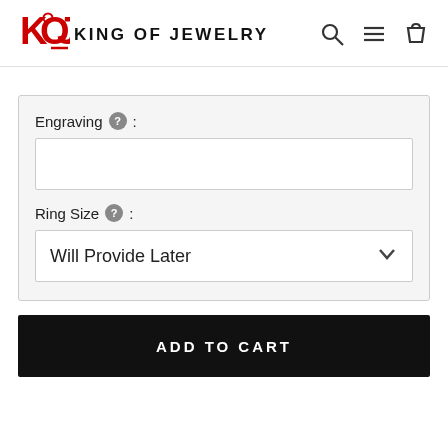KING OF JEWELRY
Engraving :
Ring Size : Will Provide Later
ADD TO CART